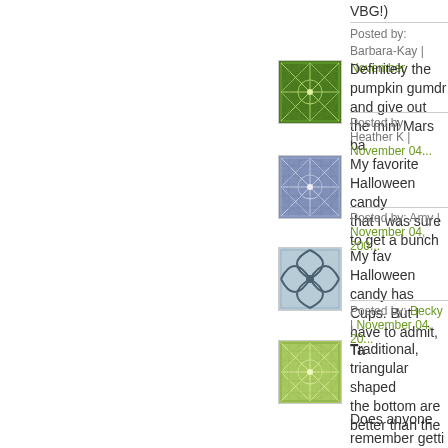VBG!)
Posted by: Barbara-Kay | November
[Figure (illustration): Green geometric star/snowflake pattern avatar on square background]
Definitely the pumpkin gumdr... and give out the mini Mars ba...
Posted by: Heather K | November 04...
[Figure (illustration): Blue/purple geometric star/snowflake pattern avatar on square background]
My favorite Halloween candy... that I was sure to get a bunch...
Posted by: Amy | November 04, 200...
[Figure (illustration): Blue/gray abstract curved pattern avatar on square background]
My fav Halloween candy has... Cups. But I have to admit, Ta...
Posted by: Becky | November 04, 20...
[Figure (illustration): Light green geometric star/snowflake pattern avatar on square background]
Traditional, triangular shaped... the bottom are better than the...
Does anyone remember getti...